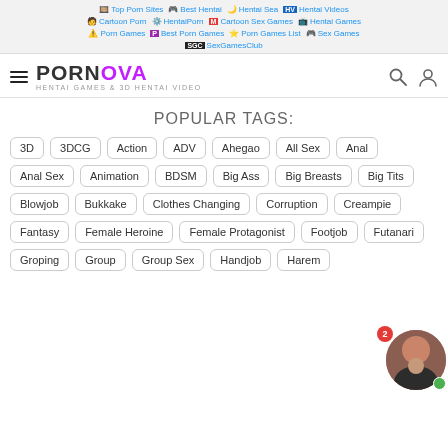Top Porn Sites | Best Hentai | Hentai Sea | Hentai Videos | Cartoon Porn | HentaiPorn | Cartoon Sex Games | Hentai Games | Porn Games | Best Porn Games | Porn Games List | Sex Games | SexGamesClub
PORNOVA - HENTAI GAMES & 3D HENTAI VIDEO
POPULAR TAGS:
3D
3DCG
Action
ADV
Ahegao
All Sex
Anal
Anal Sex
Animation
BDSM
Big Ass
Big Breasts
Big Tits
Blowjob
Bukkake
Clothes Changing
Corruption
Creampie
Fantasy
Female Heroine
Female Protagonist
Footjob
Futanari
Groping
Group
Group Sex
Handjob
Harem